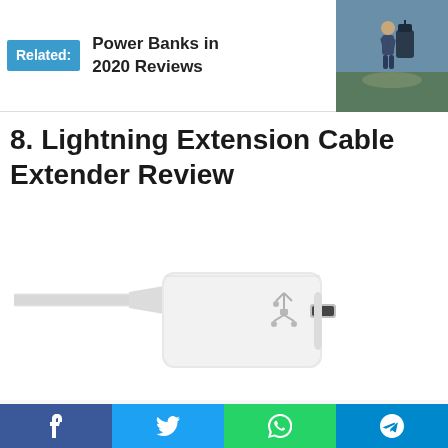[Figure (infographic): Related banner with teal 'Related:' label, text 'Power Banks in 2020 Reviews', and a photo of a person with luggage on a trail]
8. Lightning Extension Cable Extender Review
[Figure (photo): White Lightning extension cable extender adapter with USB symbol on the body and a Lightning female port, shown against white background]
[Figure (photo): Cellularize branded Lightning cable connector partially visible at bottom of page]
Social share bar with Facebook, Twitter, WhatsApp, and Telegram buttons